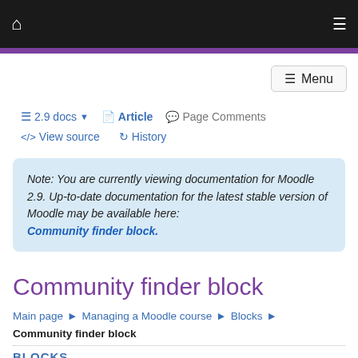Home | Menu
☰ Menu
2.9 docs ▾ | Article | Page Comments | </> View source | ↺ History
Note: You are currently viewing documentation for Moodle 2.9. Up-to-date documentation for the latest stable version of Moodle may be available here: Community finder block.
Community finder block
Main page ► Managing a Moodle course ► Blocks ► Community finder block
BLOCKS